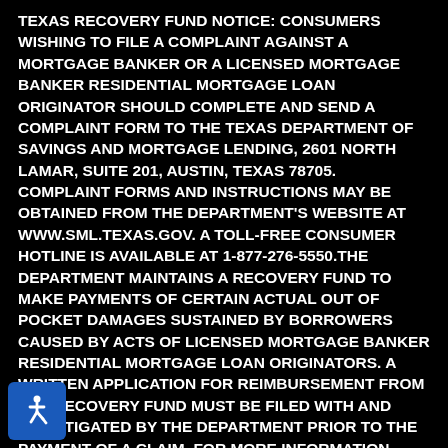TEXAS RECOVERY FUND NOTICE: CONSUMERS WISHING TO FILE A COMPLAINT AGAINST A MORTGAGE BANKER OR A LICENSED MORTGAGE BANKER RESIDENTIAL MORTGAGE LOAN ORIGINATOR SHOULD COMPLETE AND SEND A COMPLAINT FORM TO THE TEXAS DEPARTMENT OF SAVINGS AND MORTGAGE LENDING, 2601 NORTH LAMAR, SUITE 201, AUSTIN, TEXAS 78705. COMPLAINT FORMS AND INSTRUCTIONS MAY BE OBTAINED FROM THE DEPARTMENT'S WEBSITE AT WWW.SML.TEXAS.GOV. A TOLL-FREE CONSUMER HOTLINE IS AVAILABLE AT 1-877-276-5550.THE DEPARTMENT MAINTAINS A RECOVERY FUND TO MAKE PAYMENTS OF CERTAIN ACTUAL OUT OF POCKET DAMAGES SUSTAINED BY BORROWERS CAUSED BY ACTS OF LICENSED MORTGAGE BANKER RESIDENTIAL MORTGAGE LOAN ORIGINATORS. A WRITTEN APPLICATION FOR REIMBURSEMENT FROM THE RECOVERY FUND MUST BE FILED WITH AND INVESTIGATED BY THE DEPARTMENT PRIOR TO THE PAYMENT OF A CLAIM. FOR MORE INFORMATION ABOUT THE RECOVERY FUND, PLEASE CONSULT THE DEPARTMENT'S WEBSITE
[Figure (other): Accessibility icon - blue rounded square with white wheelchair accessibility symbol]